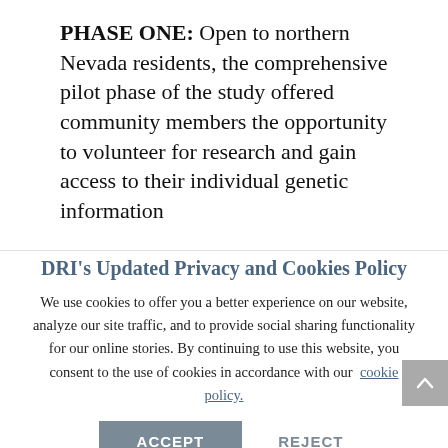PHASE ONE: Open to northern Nevada residents, the comprehensive pilot phase of the study offered community members the opportunity to volunteer for research and gain access to their individual genetic information
DRI's Updated Privacy and Cookies Policy
We use cookies to offer you a better experience on our website, analyze our site traffic, and to provide social sharing functionality for our online stories. By continuing to use this website, you consent to the use of cookies in accordance with our cookie policy.
ACCEPT   REJECT